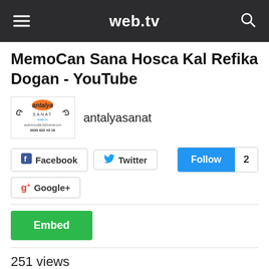web.tv
MemoCan Sana Hosca Kal Refika Dogan - YouTube
[Figure (logo): Antalya Sanat web.tv channel logo with phone number 0535 622 43 16]
antalyasanat
Facebook  Twitter  Follow  2  Google+  Embed  251 views  0  0  251  Category  NPO  ·  Date Added